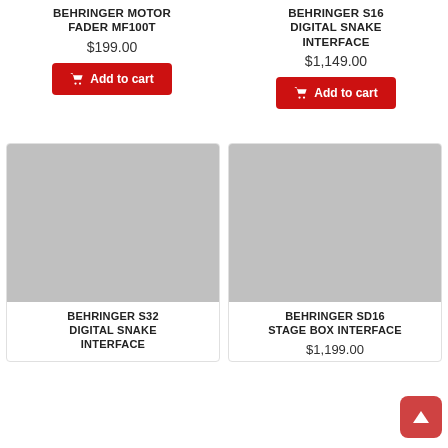BEHRINGER MOTOR FADER MF100T
$199.00
Add to cart
BEHRINGER S16 DIGITAL SNAKE INTERFACE
$1,149.00
Add to cart
[Figure (photo): Product image placeholder for BEHRINGER S32 DIGITAL SNAKE INTERFACE]
BEHRINGER S32 DIGITAL SNAKE INTERFACE
[Figure (photo): Product image placeholder for BEHRINGER SD16 STAGE BOX INTERFACE]
BEHRINGER SD16 STAGE BOX INTERFACE
$1,199.00